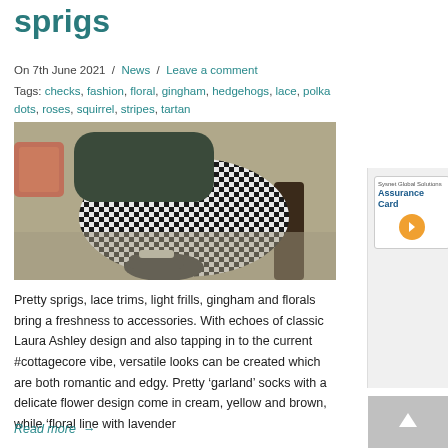sprigs
On 7th June 2021  /  News  /  Leave a comment
Tags: checks, fashion, floral, gingham, hedgehogs, lace, polka dots, roses, squirrel, stripes, tartan
[Figure (photo): Photo of a person sitting in a chair wearing a black and white gingham/check pattern dress and dark socks, viewed from waist down]
Pretty sprigs, lace trims, light frills, gingham and florals bring a freshness to accessories. With echoes of classic Laura Ashley design and also tapping in to the current #cottagecore vibe, versatile looks can be created which are both romantic and edgy. Pretty ‘garland’ socks with a delicate flower design come in cream, yellow and brown, while ‘floral line with lavender
Read more →